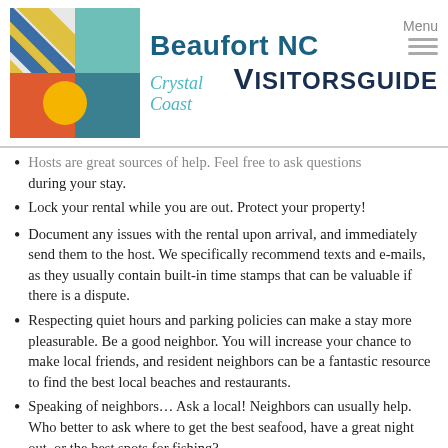Beaufort NC Crystal Coast VisitorsGuide
Hosts are great sources of help. Feel free to ask questions during your stay.
Lock your rental while you are out. Protect your property!
Document any issues with the rental upon arrival, and immediately send them to the host. We specifically recommend texts and e-mails, as they usually contain built-in time stamps that can be valuable if there is a dispute.
Respecting quiet hours and parking policies can make a stay more pleasurable. Be a good neighbor. You will increase your chance to make local friends, and resident neighbors can be a fantastic resource to find the best local beaches and restaurants.
Speaking of neighbors… Ask a local! Neighbors can usually help. Who better to ask where to get the best seafood, have a great night out, or the best spots for fishing?
Don't leave anything behind! Before departing, walk through the rental property to reconfirm you've collected